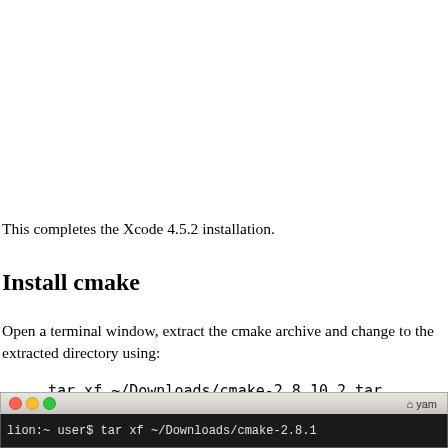This completes the Xcode 4.5.2 installation.
Install cmake
Open a terminal window, extract the cmake archive and change to the extracted directory using:
tar xf ~/Downloads/cmake-2.8.10.2.tar
cd cmake-2.8.10.2
[Figure (screenshot): Terminal window screenshot showing command line with dark background, traffic-light window buttons, and yam title. Partial command visible: lion:~ user$ tar xf ~/Downloads/cmake-2.8.1...]